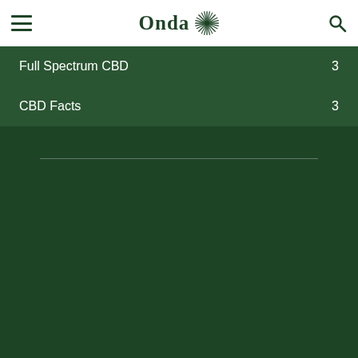Onda — navigation header with hamburger menu and search icon
Full Spectrum CBD  3
CBD Facts  3